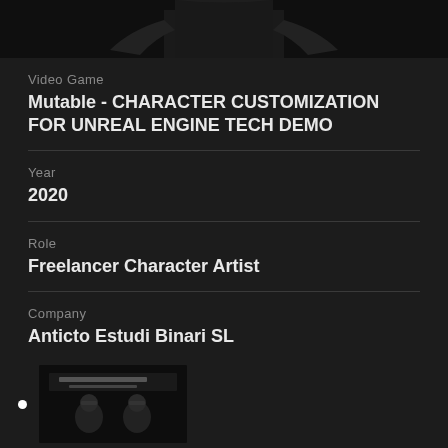[Figure (photo): Partial view of a character figure in dark clothing, cropped at shoulders/torso, dark background]
Video Game
Mutable - CHARACTER CUSTOMIZATION FOR UNREAL ENGINE TECH DEMO
Year
2020
Role
Freelancer Character Artist
Company
Anticto Estudi Binari SL
[Figure (screenshot): Thumbnail image with Chinese text overlay showing two people, dark background, appears to be a course or tutorial thumbnail]